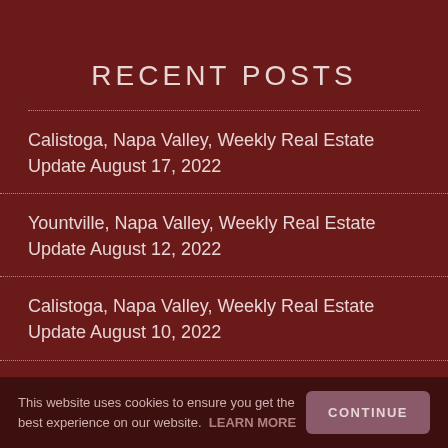RECENT POSTS
Calistoga, Napa Valley, Weekly Real Estate Update August 17, 2022
Yountville, Napa Valley, Weekly Real Estate Update August 12, 2022
Calistoga, Napa Valley, Weekly Real Estate Update August 10, 2022
Yountville, Napa Valley, Weekly Real Estate Update
This website uses cookies to ensure you get the best experience on our website. LEARN MORE